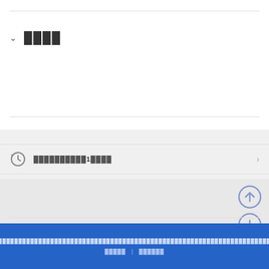████
████
██████████1████
[Figure (screenshot): Navigation arrows up and down on gray background]
████████████████████████████████████████████████████████████████████████ ████ | ██████